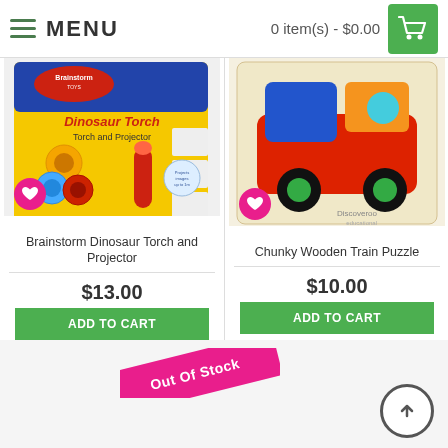MENU  |  0 item(s) - $0.00
[Figure (photo): Brainstorm Dinosaur Torch and Projector product image on yellow packaging with dinosaur graphics]
[Figure (photo): Chunky Wooden Train Puzzle product image showing colorful wooden train puzzle on cream background with Discoveroo branding]
Brainstorm Dinosaur Torch and Projector
$13.00
ADD TO CART
Chunky Wooden Train Puzzle
$10.00
ADD TO CART
Out Of Stock